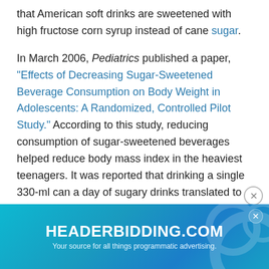that American soft drinks are sweetened with high fructose corn syrup instead of cane sugar.
In March 2006, Pediatrics published a paper, "Effects of Decreasing Sugar-Sweetened Beverage Consumption on Body Weight in Adolescents: A Randomized, Controlled Pilot Study." According to this study, reducing consumption of sugar-sweetened beverages helped reduce body mass index in the heaviest teenagers. It was reported that drinking a single 330-ml can a day of sugary drinks translated to more than one pound of weight gain every month.[4]
Soft drinks linked to weight gain and type 2 diabetes
In 2004, an eight-year study of 50,000 nurses showed a correlation between sweetened beverages (such as soft drinks and fruit punches) per day increases one's risk of developing...
[Figure (other): HEADERBIDDING.COM advertisement banner with teal/blue gradient background. Text reads 'HEADERBIDDING.COM' in white bold letters and 'Your source for all things programmatic advertising.' in smaller white text. Has an 'X' close button in top right.]